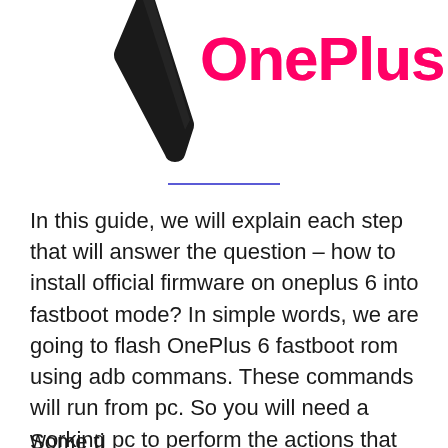[Figure (illustration): OnePlus branded header image showing a phone device silhouette on the left and the OnePlus brand name in bold pink/magenta text on the right against a white background]
In this guide, we will explain each step that will answer the question – how to install official firmware on oneplus 6 into fastboot mode? In simple words, we are going to flash OnePlus 6 fastboot rom using adb commans. These commands will run from pc. So you will need a working pc to perform the actions that we will explain in this tutorial.
Some text continues below the tutorial.